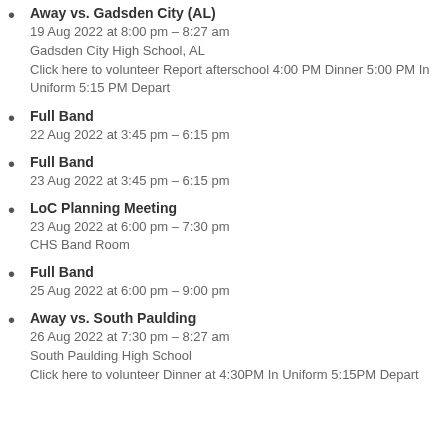Away vs. Gadsden City (AL)
19 Aug 2022 at 8:00 pm – 8:27 am
Gadsden City High School, AL
Click here to volunteer Report afterschool 4:00 PM Dinner 5:00 PM In Uniform 5:15 PM Depart
Full Band
22 Aug 2022 at 3:45 pm – 6:15 pm
Full Band
23 Aug 2022 at 3:45 pm – 6:15 pm
LoC Planning Meeting
23 Aug 2022 at 6:00 pm – 7:30 pm
CHS Band Room
Full Band
25 Aug 2022 at 6:00 pm – 9:00 pm
Away vs. South Paulding
26 Aug 2022 at 7:30 pm – 8:27 am
South Paulding High School
Click here to volunteer Dinner at 4:30PM In Uniform 5:15PM Depart